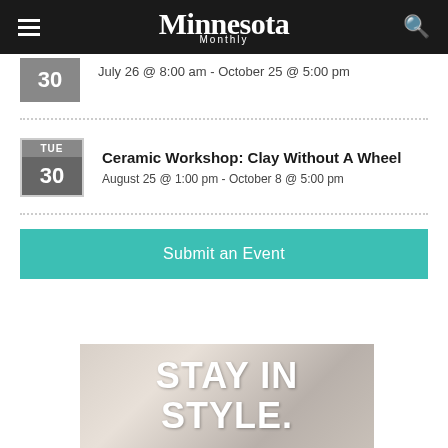Minnesota Monthly
July 26 @ 8:00 am – October 25 @ 5:00 pm
Ceramic Workshop: Clay Without A Wheel
August 25 @ 1:00 pm - October 8 @ 5:00 pm
Submit an Event
[Figure (photo): Interior room photo with text overlay reading STAY IN STYLE.]